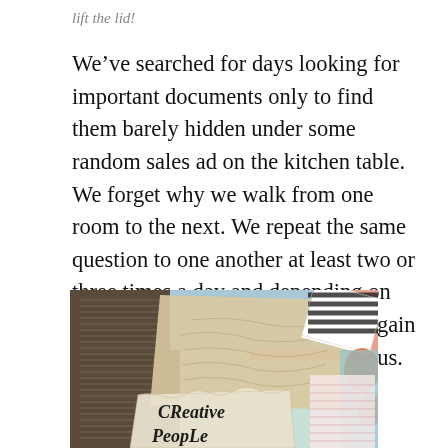lift the lid!
We’ve searched for days looking for important documents only to find them barely hidden under some random sales ad on the kitchen table. We forget why we walk from one room to the next. We repeat the same question to one another at least two or three times a day and depending on how sassy we feel either answer again or question the other’s mental status.
[Figure (photo): A collage-style art journal page with layered papers, maps, and colorful painted backgrounds. In the foreground, text in hand-lettered style reads 'Creative People' on a torn paper piece. Background has striped tape, pink and blue painted papers, and a textured map fragment.]